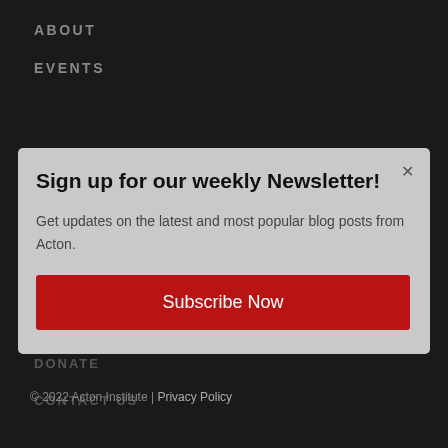ABOUT
EVENTS
PUBLICATIONS
MULTIMEDIA
SHOP
DONATE
CONTACT US
Sign up for our weekly Newsletter!
Get updates on the latest and most popular blog posts from Acton.
Subscribe Now
[Figure (screenshot): Social media icons: Facebook, Twitter, YouTube]
© 2022 Acton Institute | Privacy Policy